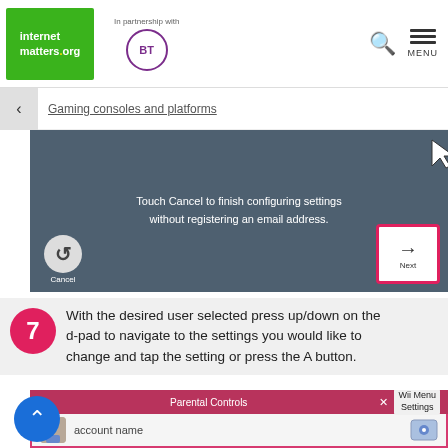internet matters.org — In partnership with BT
Gaming consoles and platforms
[Figure (screenshot): Screenshot of a Wii parental controls setup screen showing 'Touch Cancel to finish configuring settings without registering an email address.' with Cancel and Next buttons.]
[Figure (infographic): Accessibility icon (wheelchair user in circle)]
7 With the desired user selected press up/down on the d-pad to navigate to the settings you would like to change and tap the setting or press the A button.
[Figure (screenshot): Screenshot of Wii Parental Controls screen showing account name with Wii Menu Settings label at top right.]